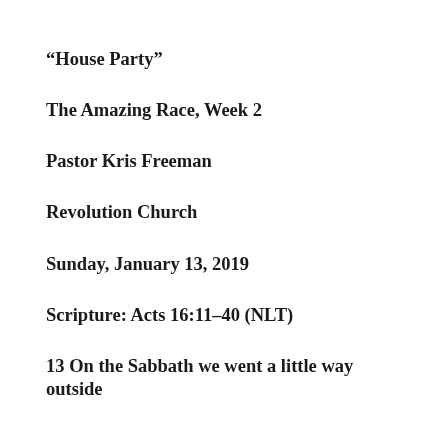“House Party”
The Amazing Race, Week 2
Pastor Kris Freeman
Revolution Church
Sunday, January 13, 2019
Scripture: Acts 16:11–40 (NLT)
13 On the Sabbath we went a little way outside